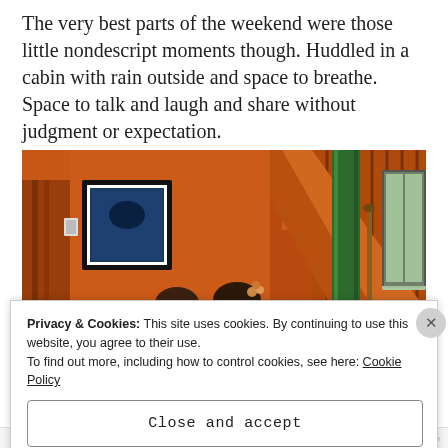The very best parts of the weekend were those little nondescript moments though. Huddled in a cabin with rain outside and space to breathe. Space to talk and laugh and share without judgment or expectation.
[Figure (photo): Interior of a cabin with orange/red walls, wooden staircase with diagonal rails, a green structural column, a framed picture on the wall, and two women sitting at the bottom of the frame, one with flowers in her hair.]
Privacy & Cookies: This site uses cookies. By continuing to use this website, you agree to their use.
To find out more, including how to control cookies, see here: Cookie Policy
Close and accept